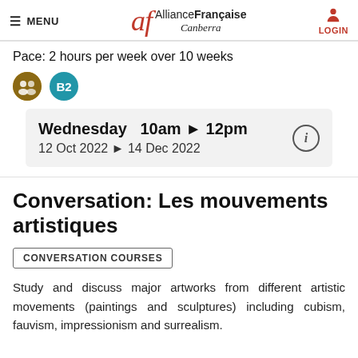MENU | Alliance Française Canberra | LOGIN
Pace: 2 hours per week over 10 weeks
Wednesday  10am ▶ 12pm
12 Oct 2022 ▶ 14 Dec 2022
Conversation: Les mouvements artistiques
CONVERSATION COURSES
Study and discuss major artworks from different artistic movements (paintings and sculptures) including cubism, fauvism, impressionism and surrealism.